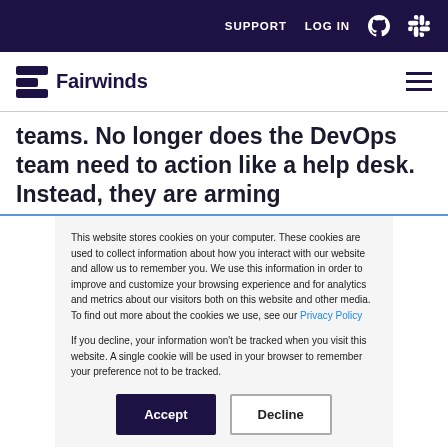SUPPORT  LOG IN
[Figure (logo): Fairwinds logo with stylized F icon and wordmark]
teams. No longer does the DevOps team need to action like a help desk. Instead, they are arming
This website stores cookies on your computer. These cookies are used to collect information about how you interact with our website and allow us to remember you. We use this information in order to improve and customize your browsing experience and for analytics and metrics about our visitors both on this website and other media. To find out more about the cookies we use, see our Privacy Policy
If you decline, your information won't be tracked when you visit this website. A single cookie will be used in your browser to remember your preference not to be tracked.